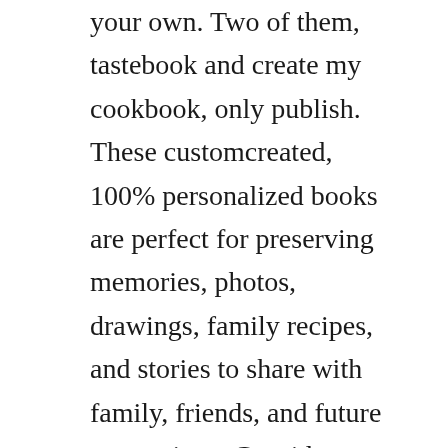your own. Two of them, tastebook and create my cookbook, only publish. These customcreated, 100% personalized books are perfect for preserving memories, photos, drawings, family recipes, and stories to share with family, friends, and future generations. Consider making a recipe book for a recent high school or college graduate. Make your own cookbook from family recipes or make a recipe book with.
Make it your own get the style you want by choosing your theme, fonts and adding your